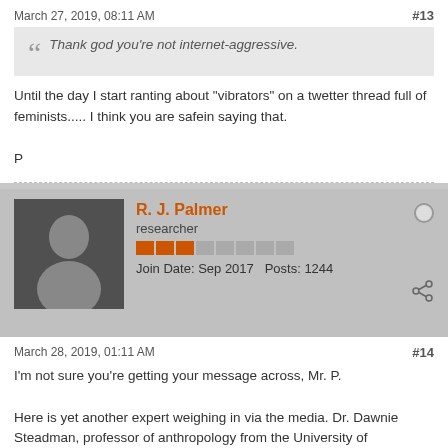March 27, 2019, 08:11 AM   #13
Thank god you're not internet-aggressive.
Until the day I start ranting about "vibrators" on a twetter thread full of feminists..... I think you are safein saying that.

P
R. J. Palmer
researcher
Join Date: Sep 2017   Posts: 1244
March 28, 2019, 01:11 AM   #14
I'm not sure you're getting your message across, Mr. P.

Here is yet another expert weighing in via the media. Dr. Dawnie Steadman, professor of anthropology from the University of Tennessee's famous "body farm." What could she possibly know about forensic testing that a specialist in sport's medicine doesn't?

https://www.youtube.com/watch?v=HN8n7gs6bTM